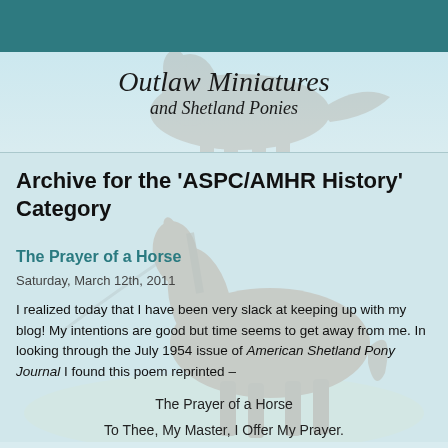Outlaw Miniatures and Shetland Ponies
Archive for the 'ASPC/AMHR History' Category
The Prayer of a Horse
Saturday, March 12th, 2011
I realized today that I have been very slack at keeping up with my blog! My intentions are good but time seems to get away from me. In looking through the July 1954 issue of American Shetland Pony Journal I found this poem reprinted –
The Prayer of a Horse
To Thee, My Master, I Offer My Prayer.